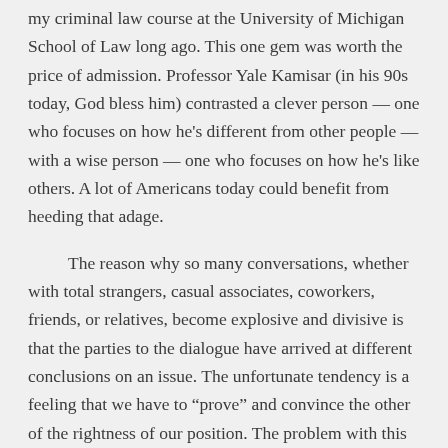my criminal law course at the University of Michigan School of Law long ago. This one gem was worth the price of admission. Professor Yale Kamisar (in his 90s today, God bless him) contrasted a clever person — one who focuses on how he's different from other people — with a wise person — one who focuses on how he's like others. A lot of Americans today could benefit from heeding that adage.
The reason why so many conversations, whether with total strangers, casual associates, coworkers, friends, or relatives, become explosive and divisive is that the parties to the dialogue have arrived at different conclusions on an issue. The unfortunate tendency is a feeling that we have to “prove” and convince the other of the rightness of our position. The problem with this is that the more energetically one side strives to prove